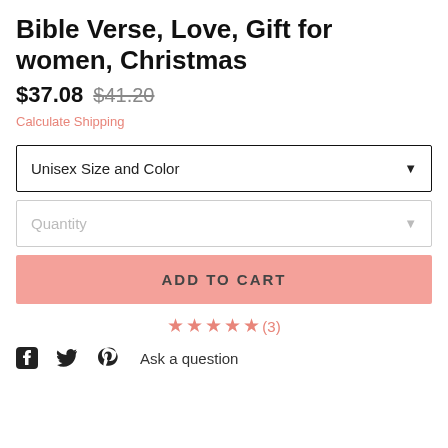Bible Verse, Love, Gift for women, Christmas
$37.08  $41.20
Calculate Shipping
Unisex Size and Color
Quantity
ADD TO CART
★★★★★(3)
Ask a question